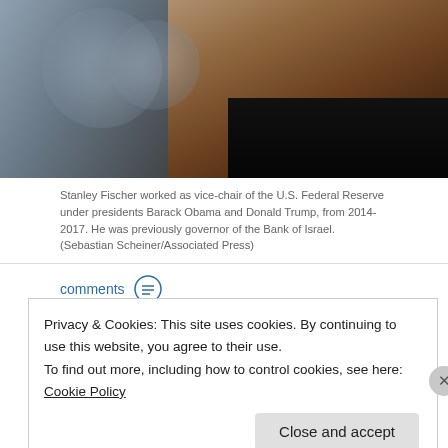[Figure (photo): Close-up photograph of an older man in a dark suit, partial face visible, against a blurred background with circular shapes]
Stanley Fischer worked as vice-chair of the U.S. Federal Reserve under presidents Barack Obama and Donald Trump, from 2014-2017. He was previously governor of the Bank of Israel. (Sebastian Scheiner/Associated Press)
comments
Listen  19:50
Read Story Transcript
When it comes to U.S. President Donald Trump's criticism of the Federal
Privacy & Cookies: This site uses cookies. By continuing to use this website, you agree to their use.
To find out more, including how to control cookies, see here: Cookie Policy
Close and accept